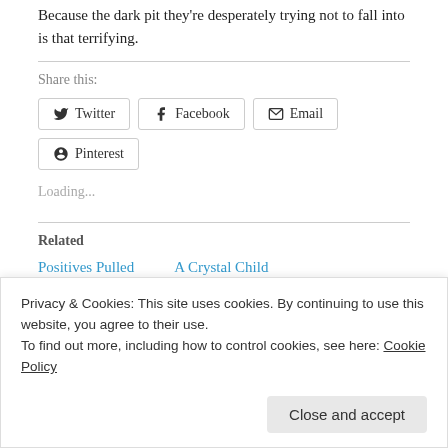Because the dark pit they're desperately trying not to fall into is that terrifying.
Share this:
Twitter  Facebook  Email  Pinterest
Loading...
Related
Positives Pulled   A Crystal Child
Privacy & Cookies: This site uses cookies. By continuing to use this website, you agree to their use.
To find out more, including how to control cookies, see here: Cookie Policy
Close and accept